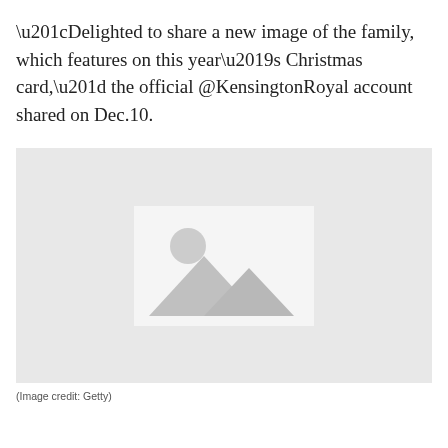“Delighted to share a new image of the family, which features on this year’s Christmas card,” the official @KensingtonRoyal account shared on Dec.10.
[Figure (photo): Placeholder image with grey background showing a generic image placeholder icon (mountains and sun)]
(Image credit: Getty)